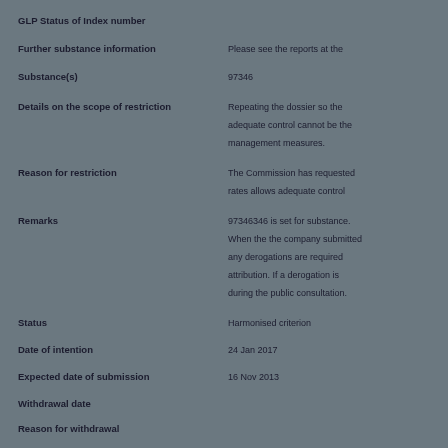GLP Status of Index number
Further substance information
Please see the reports at the
Substance(s)
97346
Details on the scope of restriction
Repeating the dossier so the adequate control cannot be the management measures.
Reason for restriction
The Commission has requested rates allows adequate control
Remarks
97346346 is set for substance. When the the company submitted any derogations are required attribution. If a derogation is during the public consultation.
Status
Harmonised criterion
Date of intention
24 Jan 2017
Expected date of submission
16 Nov 2013
Withdrawal date
Reason for withdrawal